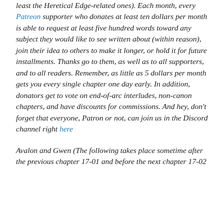least the Heretical Edge-related ones). Each month, every Patreon supporter who donates at least ten dollars per month is able to request at least five hundred words toward any subject they would like to see written about (within reason), join their idea to others to make it longer, or hold it for future installments. Thanks go to them, as well as to all supporters, and to all readers. Remember, as little as 5 dollars per month gets you every single chapter one day early. In addition, donators get to vote on end-of-arc interludes, non-canon chapters, and have discounts for commissions. And hey, don't forget that everyone, Patron or not, can join us in the Discord channel right here
Avalon and Gwen (The following takes place sometime after the previous chapter 17-01 and before the next chapter 17-02